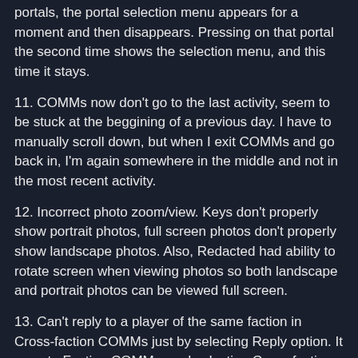portals, the portal selection menu appears for a moment and then disappears. Pressing on that portal the second time shows the selection menu, and this time it stays.
11. COMMs now don't go to the last activity, seem to be stuck at the beggining of a previous day. I have to manually scroll down, but when I exit COMMs and go back in, I'm again somewhere in the middle and not in the most recent activity.
12. Incorrect photo zoom/view. Keys don't properly show portrait photos, full screen photos don't properly show landscape photos. Also, Redacted had ability to rotate screen when viewing photos so both landscape and portrait photos can be viewed full screen.
13. Can't reply to a player of the same faction in Cross-faction COMMs just by selecting Reply option. It goes to Faction COMMs, and selecting Cross-faction removes @<agent name>. Have to copy agent's name in Faction COMMs and then paste it to Cross-faction COMMs
14. Drone view doesn't show all the portals in the vicinity - some portals are not visible even though they are the same distance or